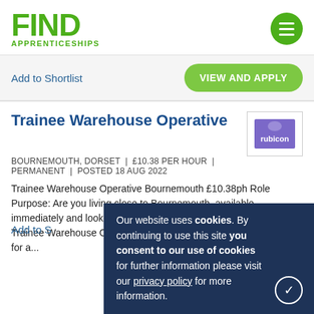FIND APPRENTICESHIPS
Add to Shortlist
VIEW AND APPLY
Trainee Warehouse Operative
BOURNEMOUTH, DORSET  |  £10.38 PER HOUR  |  PERMANENT  |  POSTED 18 AUG 2022
Trainee Warehouse Operative Bournemouth £10.38ph Role Purpose: Are you living close to Bournemouth, available immediately and looking for a long-term job opportunity ? As a Trainee Warehouse Operative , you'll work within a close-knit team for a...
Add to S
Our website uses cookies. By continuing to use this site you consent to our use of cookies for further information please visit our privacy policy for more information.